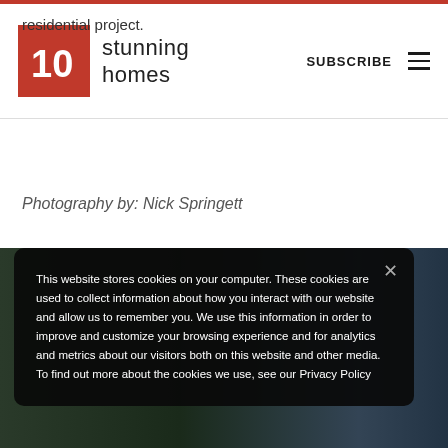stunning homes | SUBSCRIBE
residential project.
Photography by: Nick Springett
This website stores cookies on your computer. These cookies are used to collect information about how you interact with our website and allow us to remember you. We use this information in order to improve and customize your browsing experience and for analytics and metrics about our visitors both on this website and other media. To find out more about the cookies we use, see our Privacy Policy